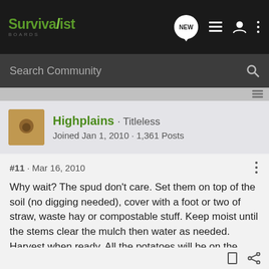Survivalist Boards
Search Community
Highplains · Titleless
Joined Jan 1, 2010 · 1,361 Posts
#11 · Mar 16, 2010
Why wait? The spud don't care. Set them on top of the soil (no digging needed), cover with a foot or two of straw, waste hay or compostable stuff. Keep moist until the stems clear the mulch then water as needed. Harvest when ready. All the potatoes will be on the surface, beneath the mulch. The lazy way to grow spuds.